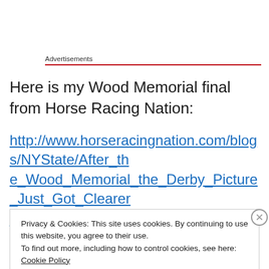Advertisements
Here is my Wood Memorial final from Horse Racing Nation:
http://www.horseracingnation.com/blogs/NYState/After_the_Wood_Memorial_the_Derby_Picture_Just_Got_Clearer_123
Privacy & Cookies: This site uses cookies. By continuing to use this website, you agree to their use.
To find out more, including how to control cookies, see here: Cookie Policy